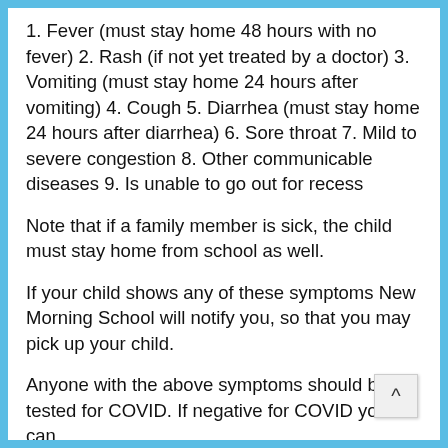1. Fever (must stay home 48 hours with no fever) 2. Rash (if not yet treated by a doctor) 3. Vomiting (must stay home 24 hours after vomiting) 4. Cough 5. Diarrhea (must stay home 24 hours after diarrhea) 6. Sore throat 7. Mild to severe congestion 8. Other communicable diseases 9. Is unable to go out for recess
Note that if a family member is sick, the child must stay home from school as well.
If your child shows any of these symptoms New Morning School will notify you, so that you may pick up your child.
Anyone with the above symptoms should be tested for COVID. If negative for COVID you can